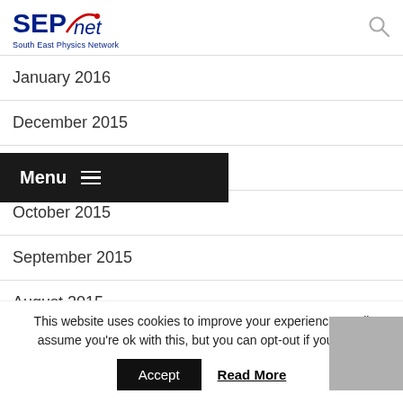SEPnet - South East Physics Network
January 2016
December 2015
November 2015
October 2015
September 2015
August 2015
This website uses cookies to improve your experience. We'll assume you're ok with this, but you can opt-out if you wish.
Accept  Read More